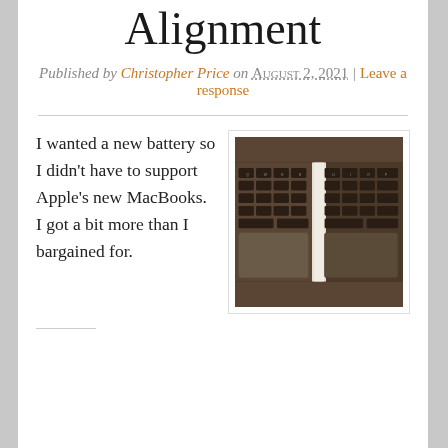Alignment
Published by Christopher Price on August 2, 2021 | Leave a response
I wanted a new battery so I didn't have to support Apple's new MacBooks. I got a bit more than I bargained for.
[Figure (photo): Close-up photograph of a MacBook keyboard showing keys and trackpad area]